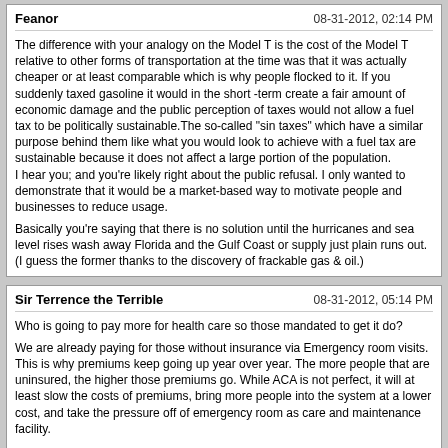Post by Feanor, 08-31-2012, 02:14 PM: The difference with your analogy on the Model T is the cost of the Model T relative to other forms of transportation at the time was that it was actually cheaper or at least comparable which is why people flocked to it. If you suddenly taxed gasoline it would in the short -term create a fair amount of economic damage and the public perception of taxes would not allow a fuel tax to be politically sustainable.The so-called "sin taxes" which have a similar purpose behind them like what you would look to achieve with a fuel tax are sustainable because it does not affect a large portion of the population. I hear you; and you're likely right about the public refusal. I only wanted to demonstrate that it would be a market-based way to motivate people and businesses to reduce usage. Basically you're saying that there is no solution until the hurricanes and sea level rises wash away Florida and the Gulf Coast or supply just plain runs out. (I guess the former thanks to the discovery of frackable gas & oil.)
Post by Sir Terrence the Terrible, 08-31-2012, 05:14 PM: Who is going to pay more for health care so those mandated to get it do? We are already paying for those without insurance via Emergency room visits. This is why premiums keep going up year over year. The more people that are uninsured, the higher those premiums go. While ACA is not perfect, it will at least slow the costs of premiums, bring more people into the system at a lower cost, and take the pressure off of emergency room as care and maintenance facility. Who is going to pay more for cars in 12 years because of his latest 54MPG rule?